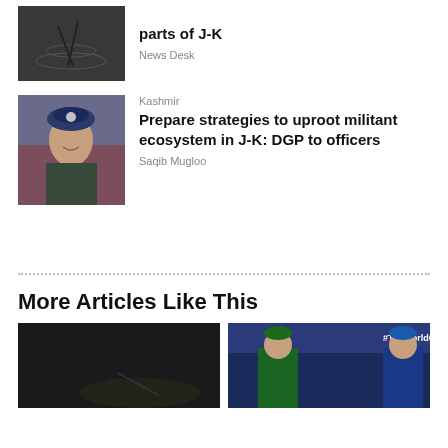[Figure (photo): Thumbnail photo - dark water scene]
parts of J-K
News Desk
[Figure (photo): Photo of a police/military officer in blue beret]
Kashmir
Prepare strategies to uproot militant ecosystem in J-K: DGP to officers
Saqib Mugloo
More Articles Like This
[Figure (photo): Dark outdoor night scene thumbnail]
[Figure (photo): T20 World Cup cricket players facing each other]